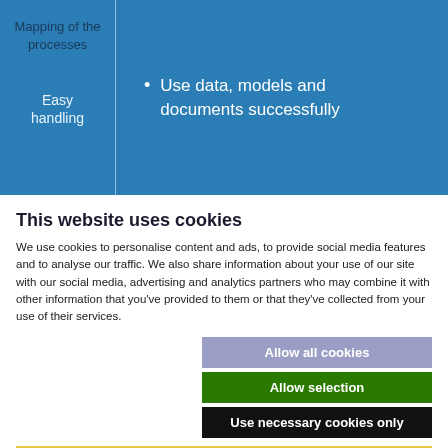[Figure (screenshot): Blue banner with two-column layout: left column shows 'Mapping of the processes' and 'Easy handling' labels; right column shows bullet point 'Use data, models and documents successfully']
This website uses cookies
We use cookies to personalise content and ads, to provide social media features and to analyse our traffic. We also share information about your use of our site with our social media, advertising and analytics partners who may combine it with other information that you've provided to them or that they've collected from your use of their services.
Allow all cookies
Allow selection
Use necessary cookies only
Necessary  Preferences  Statistics  Marketing  Show details